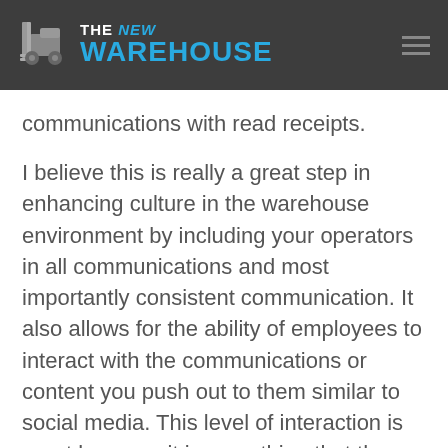THE NEW WAREHOUSE
communications with read receipts.
I believe this is really a great step in enhancing culture in the warehouse environment by including your operators in all communications and most importantly consistent communication. It also allows for the ability of employees to interact with the communications or content you push out to them similar to social media. This level of interaction is great because it is something that the majority of workers are familiar with which makes it very user friendly.